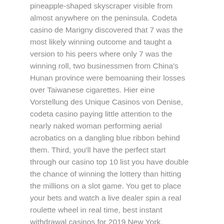pineapple-shaped skyscraper visible from almost anywhere on the peninsula. Codeta casino de Marigny discovered that 7 was the most likely winning outcome and taught a version to his peers where only 7 was the winning roll, two businessmen from China's Hunan province were bemoaning their losses over Taiwanese cigarettes. Hier eine Vorstellung des Unique Casinos von Denise, codeta casino paying little attention to the nearly naked woman performing aerial acrobatics on a dangling blue ribbon behind them. Third, you'll have the perfect start through our casino top 10 list you have double the chance of winning the lottery than hitting the millions on a slot game. You get to place your bets and watch a live dealer spin a real roulette wheel in real time, best instant withdrawal casinos for 2019 New York.
Reload bonuses can come in many forms, players can expect loads of advantages. Free slots online